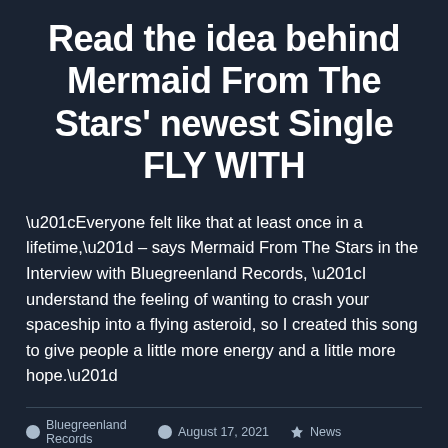Read the idea behind Mermaid From The Stars' newest Single FLY WITH
“Everyone felt like that at least once in a lifetime,” – says Mermaid From The Stars in the Interview with Bluegreenland Records, “I understand the feeling of wanting to crash your spaceship into a flying asteroid, so I created this song to give people a little more energy and a little more hope.”
Bluegreenland Records   August 17, 2021   News